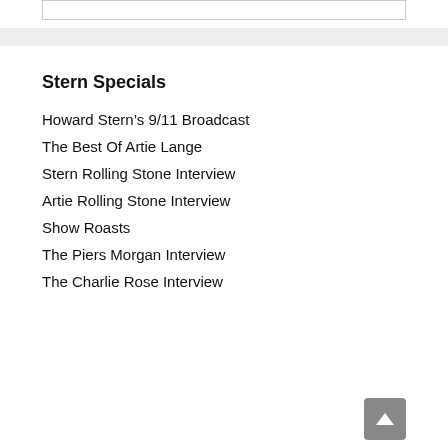Stern Specials
Howard Stern's 9/11 Broadcast
The Best Of Artie Lange
Stern Rolling Stone Interview
Artie Rolling Stone Interview
Show Roasts
The Piers Morgan Interview
The Charlie Rose Interview